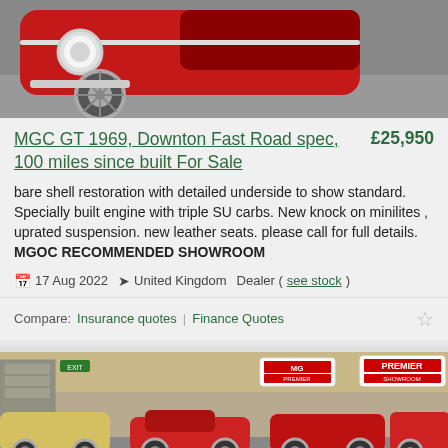[Figure (photo): Front corner view of a classic red MGC GT 1969 car, showing the headlight area and front wheel with chrome/minilite wheel]
MGC GT 1969, Downton Fast Road spec, 100 miles since built For Sale
£25,950
bare shell restoration with detailed underside to show standard. Specially built engine with triple SU carbs. New knock on minilites , uprated suspension. new leather seats. please call for full details. MGOC RECOMMENDED SHOWROOM
17 Aug 2022  United Kingdom  Dealer (see stock)
Compare:  Insurance quotes  Finance Quotes
[Figure (photo): Interior view of a classic car showroom with multiple classic cars (MGs and others) on display, with dealer signage on the walls]